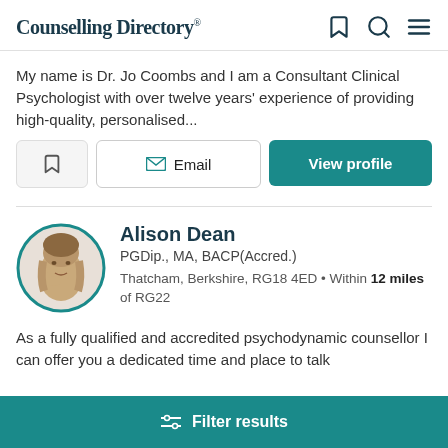Counselling Directory
My name is Dr. Jo Coombs and I am a Consultant Clinical Psychologist with over twelve years' experience of providing high-quality, personalised...
Alison Dean
PGDip., MA, BACP(Accred.)
Thatcham, Berkshire, RG18 4ED • Within 12 miles of RG22
As a fully qualified and accredited psychodynamic counsellor I can offer you a dedicated time and place to talk
Filter results